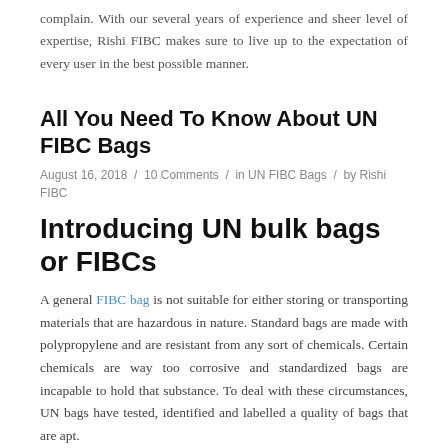complain. With our several years of experience and sheer level of expertise, Rishi FIBC makes sure to live up to the expectation of every user in the best possible manner.
All You Need To Know About UN FIBC Bags
August 16, 2018 / 10 Comments / in UN FIBC Bags / by Rishi FIBC
Introducing UN bulk bags or FIBCs
A general FIBC bag is not suitable for either storing or transporting materials that are hazardous in nature. Standard bags are made with polypropylene and are resistant from any sort of chemicals. Certain chemicals are way too corrosive and standardized bags are incapable to hold that substance. To deal with these circumstances, UN bags have tested, identified and labelled a quality of bags that are apt.